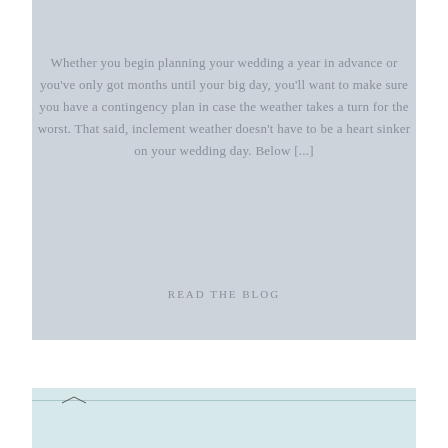Whether you begin planning your wedding a year in advance or you've only got months until your big day, you'll want to make sure you have a contingency plan in case the weather takes a turn for the worst. That said, inclement weather doesn't have to be a heart sinker on your wedding day. Below [...]
READ THE BLOG
[Figure (photo): Bottom portion of a calm water/lake scene with a faint horizon line and a small bird/silhouette visible]